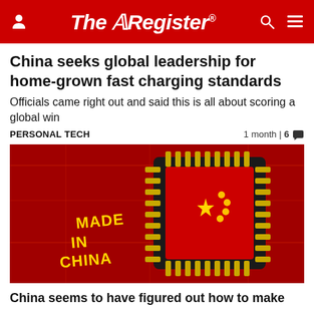The Register
China seeks global leadership for home-grown fast charging standards
Officials came right out and said this is all about scoring a global win
PERSONAL TECH   1 month | 6 💬
[Figure (photo): A red microchip with the Chinese flag pattern on top and gold 'Made in China' text, on a red circuit board background.]
China seems to have figured out how to make